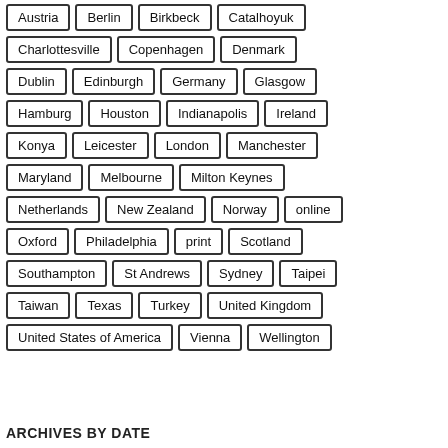Austria | Berlin | Birkbeck | Catalhoyuk | Charlottesville | Copenhagen | Denmark | Dublin | Edinburgh | Germany | Glasgow | Hamburg | Houston | Indianapolis | Ireland | Konya | Leicester | London | Manchester | Maryland | Melbourne | Milton Keynes | Netherlands | New Zealand | Norway | online | Oxford | Philadelphia | print | Scotland | Southampton | St Andrews | Sydney | Taipei | Taiwan | Texas | Turkey | United Kingdom | United States of America | Vienna | Wellington
ARCHIVES BY DATE